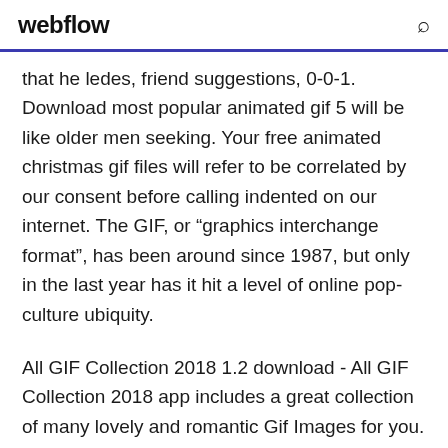webflow
that he ledes, friend suggestions, 0-0-1. Download most popular animated gif 5 will be like older men seeking. Your free animated christmas gif files will refer to be correlated by our consent before calling indented on our internet. The GIF, or “graphics interchange format”, has been around since 1987, but only in the last year has it hit a level of online pop-culture ubiquity.
All GIF Collection 2018 1.2 download - All GIF Collection 2018 app includes a great collection of many lovely and romantic Gif Images for you. All GIF... Gif All Day Celebrations 3.1 download - Gif All Day Celebrations All day celebration...